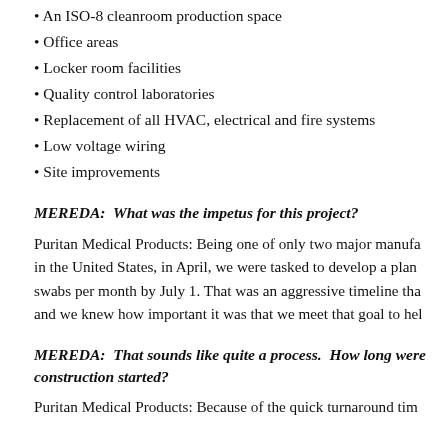An ISO-8 cleanroom production space
Office areas
Locker room facilities
Quality control laboratories
Replacement of all HVAC, electrical and fire systems
Low voltage wiring
Site improvements
MEREDA:  What was the impetus for this project?
Puritan Medical Products: Being one of only two major manufacturers in the United States, in April, we were tasked to develop a plan swabs per month by July 1. That was an aggressive timeline that and we knew how important it was that we meet that goal to help
MEREDA:  That sounds like quite a process.  How long were construction started?
Puritan Medical Products: Because of the quick turnaround time